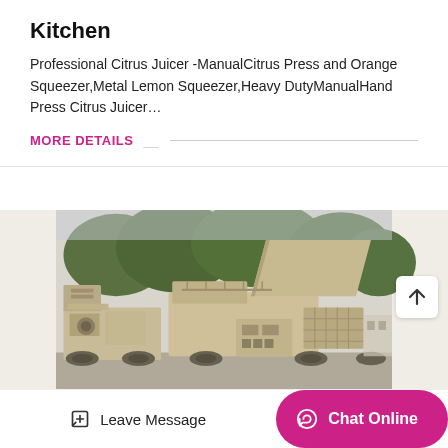Kitchen
Professional Citrus Juicer -ManualCitrus Press and Orange Squeezer,Metal Lemon Squeezer,Heavy DutyManualHand Press Citrus Juicer…
MORE DETAILS
[Figure (photo): Large industrial mobile crushing machine (beige/tan colored heavy equipment) parked outdoors with trees in background]
Leave Message
Chat Online